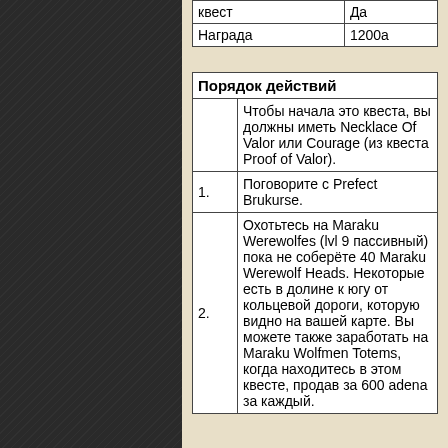| квест | Да |
| --- | --- |
| Награда | 1200a |
| Порядок действий |
| --- |
|  | Чтобы начала это квеста, вы должны иметь Necklace Of Valor или Courage (из квеста Proof of Valor). |
| 1. | Поговорите с Prefect Brukurse. |
| 2. | Охотьтесь на Maraku Werewolfes (lvl 9 пассивный) пока не соберёте 40 Maraku Werewolf Heads. Некоторые есть в долине к югу от кольцевой дороги, которую видно на вашей карте. Вы можете также заработать на Maraku Wolfmen Totems, когда находитесь в этом квесте, продав за 600 adena за каждый. |